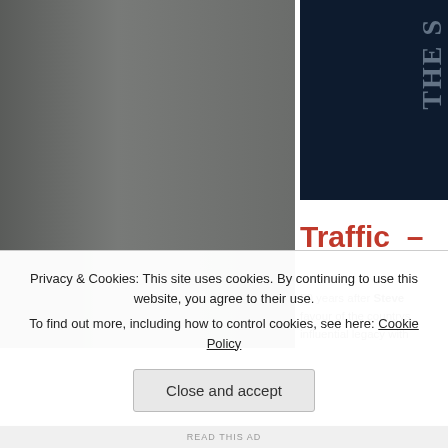[Figure (photo): Large gray-toned photograph on the left side of the page]
[Figure (photo): Dark navy image on the upper right with partial text overlay reading 'THE S...']
Traffic –
50 years after Steve favour of the countrys influential legacy with
Privacy & Cookies: This site uses cookies. By continuing to use this website, you agree to their use.
To find out more, including how to control cookies, see here: Cookie Policy
Close and accept
READ THIS AD